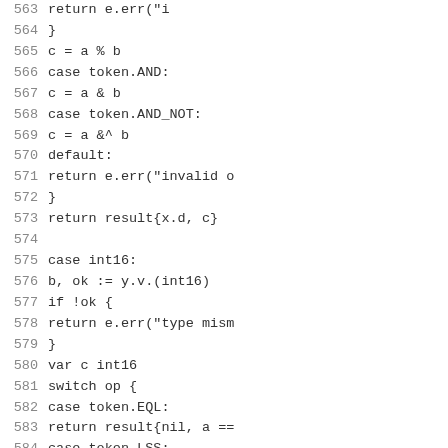[Figure (other): Source code listing (Go language) showing lines 563-584 with line numbers on the left and code on the right. Code includes switch/case statements handling token types AND, AND_NOT, default, and int16 type assertions.]